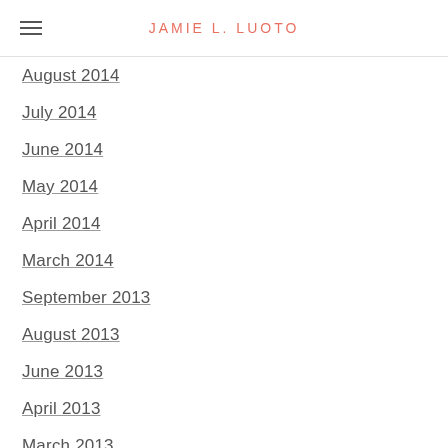JAMIE L. LUOTO
August 2014
July 2014
June 2014
May 2014
April 2014
March 2014
September 2013
August 2013
June 2013
April 2013
March 2013
November 2012
October 2012
September 2012